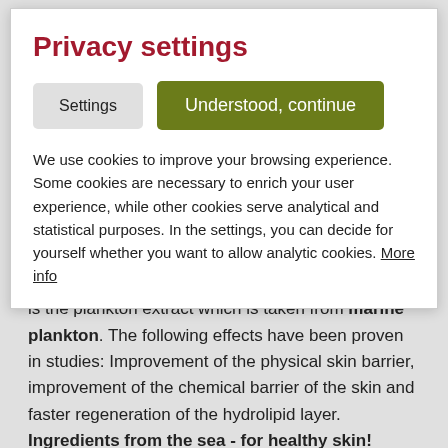Privacy settings
Settings   Understood, continue
We use cookies to improve your browsing experience. Some cookies are necessary to enrich your user experience, while other cookies serve analytical and statistical purposes. In the settings, you can decide for yourself whether you want to allow analytic cookies. More info
A special feature of the RyBeauty Cosmetics Range is the plankton extract which is taken from marine plankton. The following effects have been proven in studies: Improvement of the physical skin barrier, improvement of the chemical barrier of the skin and faster regeneration of the hydrolipid layer. Ingredients from the sea - for healthy skin!